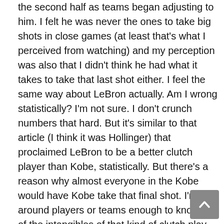the second half as teams began adjusting to him. I felt he was never the ones to take big shots in close games (at least that's what I perceived from watching) and my perception was also that I didn't think he had what it takes to take that last shot either. I feel the same way about LeBron actually. Am I wrong statistically? I'm not sure. I don't crunch numbers that hard. But it's similar to that article (I think it was Hollinger) that proclaimed LeBron to be a better clutch player than Kobe, statistically. But there's a reason why almost everyone in the Kobe would have Kobe take that final shot. I'm not around players or teams enough to know all of the intangibles of that kind of clutch play outside of the naked eye.